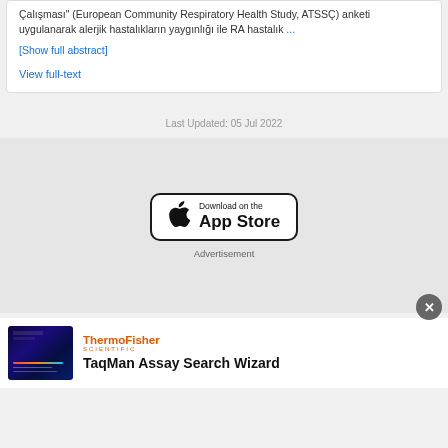Çalışması" (European Community Respiratory Health Study, ATSSÇ) anketi uygulanarak alerjik hastalıkların yaygınlığı ile RA hastalık ...
[Show full abstract]
View full-text
Last Updated: 05 Jul 2022
[Figure (logo): Download on the App Store button]
Advertisement
[Figure (screenshot): ThermoFisher Scientific TaqMan Assay Search Wizard advertisement thumbnail]
TaqMan Assay Search Wizard